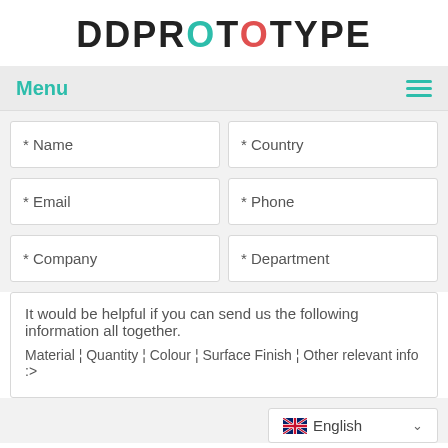DDPROTOTYPE
Menu
* Name
* Country
* Email
* Phone
* Company
* Department
It would be helpful if you can send us the following information all together.
Material ¦ Quantity ¦ Colour ¦ Surface Finish ¦ Other relevant info :>
English